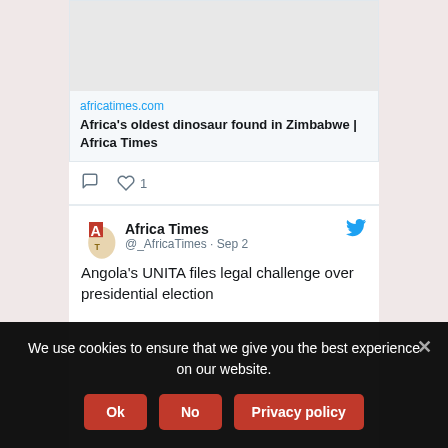[Figure (screenshot): Link preview image placeholder (gray rectangle)]
africatimes.com
Africa's oldest dinosaur found in Zimbabwe | Africa Times
[Figure (illustration): Africa Times logo - stylized Africa map with letter A and T]
Africa Times @_AfricaTimes · Sep 2
Angola's UNITA files legal challenge over presidential election
We use cookies to ensure that we give you the best experience on our website.
Ok
No
Privacy policy